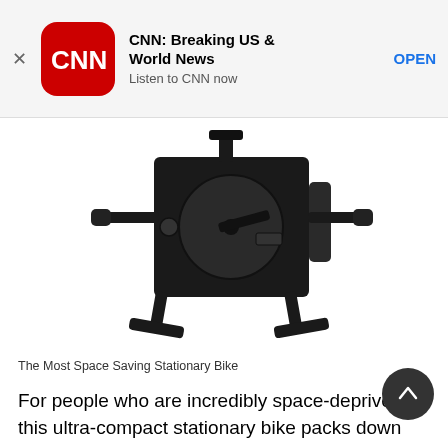[Figure (screenshot): CNN app advertisement banner with CNN logo, title 'CNN: Breaking US & World News', subtitle 'Listen to CNN now', and OPEN button]
[Figure (photo): A compact black stationary exercise bike folded into a small square shape with pedal arms extended, shown on white background]
The Most Space Saving Stationary Bike
For people who are incredibly space-deprived, this ultra-compact stationary bike packs down into a small square measuring 25.5 inches long by 7 inches wide by 23 inches high. It's super slim so you can tuck it in between furniture, or slide it right into